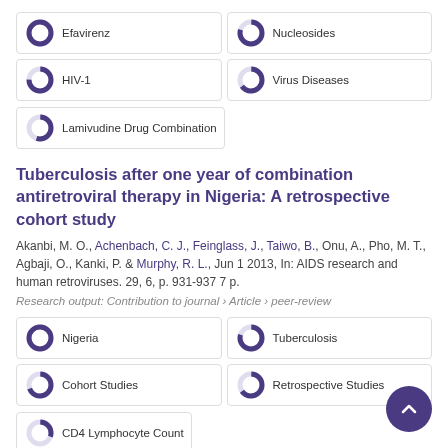[Figure (other): Keyword badge with donut icon: Efavirenz (100%)]
[Figure (other): Keyword badge with donut icon: Nucleosides (~80%)]
[Figure (other): Keyword badge with donut icon: HIV-1 (~75%)]
[Figure (other): Keyword badge with donut icon: Virus Diseases (~65%)]
[Figure (other): Keyword badge with donut icon: Lamivudine Drug Combination (~55%)]
Tuberculosis after one year of combination antiretroviral therapy in Nigeria: A retrospective cohort study
Akanbi, M. O., Achenbach, C. J., Feinglass, J., Taiwo, B., Onu, A., Pho, M. T., Agbaji, O., Kanki, P. & Murphy, R. L., Jun 1 2013, In: AIDS research and human retroviruses. 29, 6, p. 931-937 7 p.
Research output: Contribution to journal › Article › peer-review
[Figure (other): Keyword badge with donut icon: Nigeria (100%)]
[Figure (other): Keyword badge with donut icon: Tuberculosis (~80%)]
[Figure (other): Keyword badge with donut icon: Cohort Studies (~70%)]
[Figure (other): Keyword badge with donut icon: Retrospective Studies (~65%)]
[Figure (other): Keyword badge with donut icon: CD4 Lymphocyte Count (~30%)]